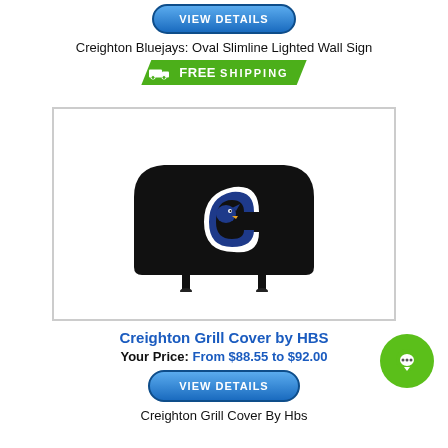[Figure (other): Blue VIEW DETAILS button at top of page]
Creighton Bluejays: Oval Slimline Lighted Wall Sign
[Figure (other): Green FREE SHIPPING badge with truck icon]
[Figure (photo): Product photo of a black grill cover with Creighton Bluejays logo on it, inside a bordered box]
Creighton Grill Cover by HBS
Your Price: From $88.55 to $92.00
[Figure (other): Blue VIEW DETAILS button]
Creighton Grill Cover By Hbs